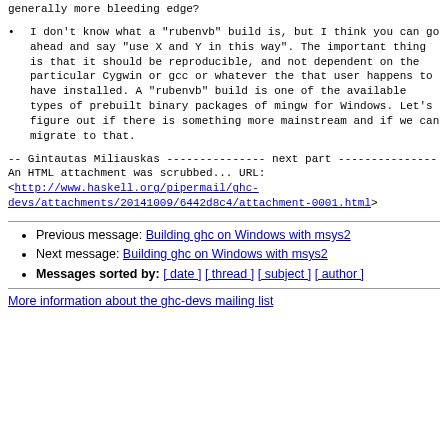generally more bleeding edge?
I don't know what a "rubenvb" build is, but I think you can go ahead and say "use X and Y in this way".  The important thing is that it should be reproducible, and not dependent on the particular Cygwin or gcc or whatever the that user happens to have installed.
A "rubenvb" build is one of the available types of prebuilt binary packages of mingw for Windows. Let's figure out if there is something more mainstream and if we can migrate to that.
--
Gintautas Miliauskas
--------------- next part ---------------
An HTML attachment was scrubbed...
URL: <http://www.haskell.org/pipermail/ghc-devs/attachments/20141009/6442d8c4/attachment-0001.html>
Previous message: Building ghc on Windows with msys2
Next message: Building ghc on Windows with msys2
Messages sorted by: [ date ] [ thread ] [ subject ] [ author ]
More information about the ghc-devs mailing list